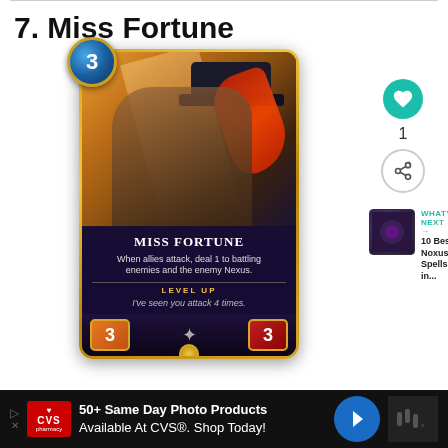7. Miss Fortune
[Figure (illustration): Legends of Runeterra card for Miss Fortune. A gold-bordered card showing a red-haired pirate woman in a tricorn hat. Cost: 3 (blue mana circle top-left). Card name: MISS FORTUNE. Ability text: When allies attack, deal 1 to battling enemies and the enemy Nexus. Level Up condition: I've seen you attack 4 times. Attack stat: 3 (orange box bottom-left), Health stat: 3 (red box bottom-right).]
1
WHAT'S NEXT → 10 Best Noxus Spells in...
50+ Same Day Photo Products Available At CVS®. Shop Today!